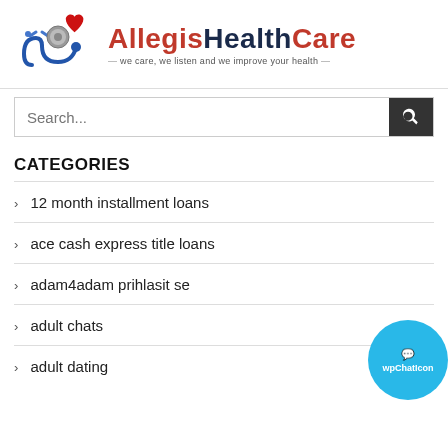[Figure (logo): Allegis HealthCare logo with red heart and stethoscope, tagline: we care, we listen and we improve your health]
Search...
CATEGORIES
12 month installment loans
ace cash express title loans
adam4adam prihlasit se
adult chats
adult dating